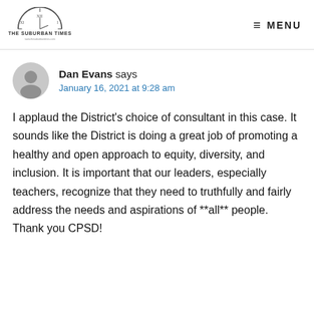THE SUBURBAN TIMES — MENU
Dan Evans says
January 16, 2021 at 9:28 am
I applaud the District's choice of consultant in this case. It sounds like the District is doing a great job of promoting a healthy and open approach to equity, diversity, and inclusion. It is important that our leaders, especially teachers, recognize that they need to truthfully and fairly address the needs and aspirations of **all** people. Thank you CPSD!